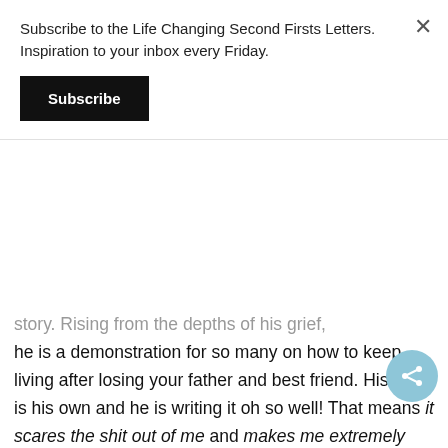Subscribe to the Life Changing Second Firsts Letters. Inspiration to your inbox every Friday.
Subscribe
story.  Rising from the depths of his grief, he is a demonstration for so many on how to keep living after losing your father and best friend.  His story is his own and he is writing it oh so well!  That means it scares the shit out of me and makes me extremely proud at the same moment.  In a very beautiful, tenderly fierce way.
In closing, through the births and the